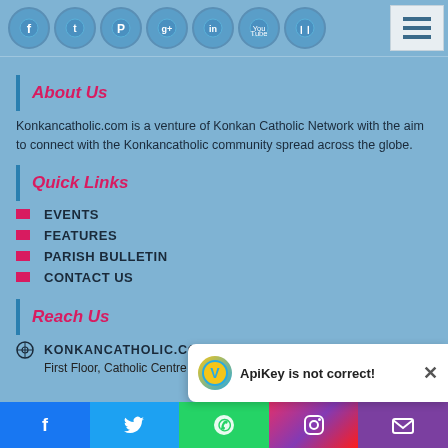[Figure (other): Social media icons bar (Facebook, Twitter, Pinterest, Google+, LinkedIn, YouTube, SoundCloud) with hamburger menu button]
About Us
Konkancatholic.com is a venture of Konkan Catholic Network with the aim to connect with the Konkancatholic community spread across the globe.
Quick Links
EVENTS
FEATURES
PARISH BULLETIN
CONTACT US
Reach Us
KONKANCATHOLIC.COM
First Floor, Catholic Centre
[Figure (screenshot): ApiKey is not correct! notification overlay popup with V chat icon and X close button]
Social share bar: Facebook, Twitter, WhatsApp, Instagram, Mail